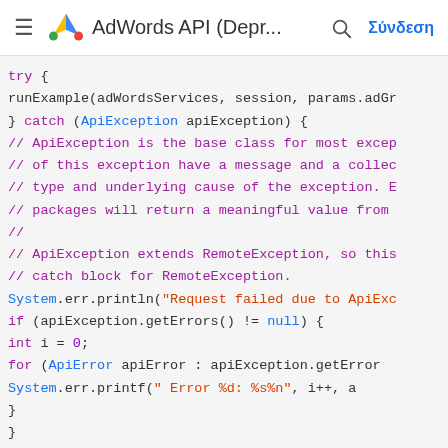AdWords API (Depr...  Σύνδεση
[Figure (screenshot): Code snippet showing try-catch blocks in Java for handling ApiException and RemoteException in AdWords API usage]